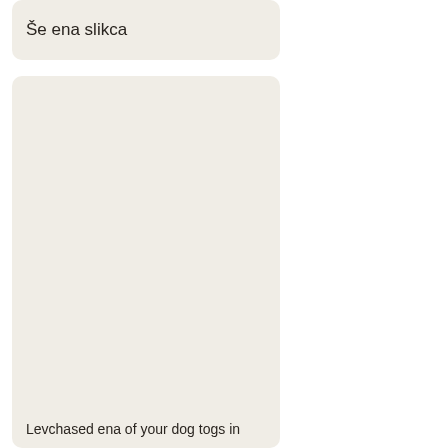Še ena slikca
[Figure (photo): A large light cream/off-white nearly blank image card with rounded corners, with partial caption text visible at the bottom reading 'Levchased ena of your dog togs in']